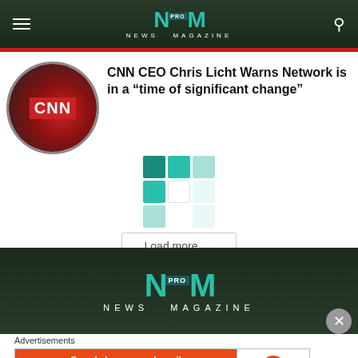NM PRO NEWS MAGAZINE
CNN CEO Chris Licht Warns Network is in a “time of significant change”
[Figure (other): Load more button with teal mosaic squares above it]
[Figure (logo): NM PRO News Magazine logo on dark background]
Advertisements
[Figure (other): DuckDuckGo advertisement banner: Search, browse, and email with more privacy. All in One Free App]